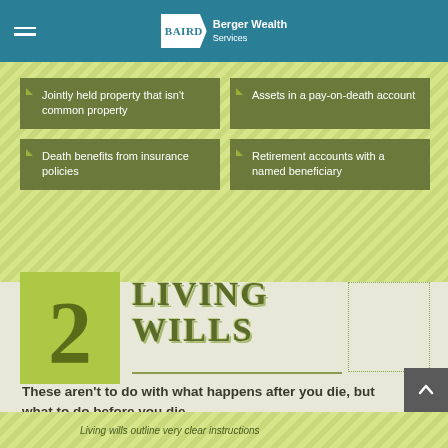BAIRD Berger Wealth Services
Jointly held property that isn't common property
Assets in a pay-on-death account
Death benefits from insurance policies
Retirement accounts with a named beneficiary
2 LIVING WILLS
These aren't to do with what happens after you die, but what to do before you die.
Living wills outline very clear instructions